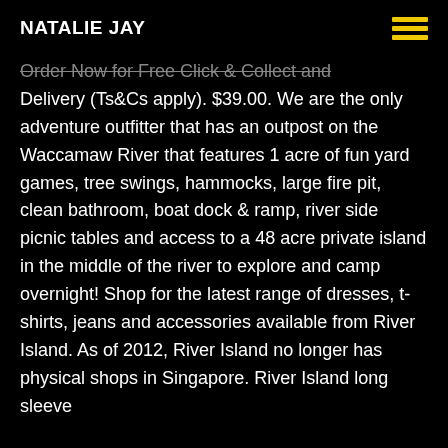NATALIE JAY
Order Now for Free Click & Collect and Delivery (Ts&Cs apply). $39.00. We are the only adventure outfitter that has an outpost on the Waccamaw River that features 1 acre of fun yard games, tree swings, hammocks, large fire pit, clean bathroom, boat dock & ramp, river side picnic tables and access to a 48 acre private island in the middle of the river to explore and camp overnight! Shop for the latest range of dresses, t-shirts, jeans and accessories available from River Island. As of 2012, River Island no longer has physical shops in Singapore. River Island long sleeve